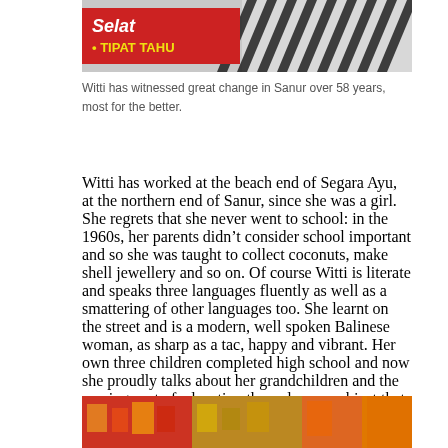[Figure (photo): Top portion of a photo showing a sign with 'Selat' and 'TIPAT TAHU' in red background, with a zebra-striped pattern in the background]
Witti has witnessed great change in Sanur over 58 years, most for the better.
Witti has worked at the beach end of Segara Ayu, at the northern end of Sanur, since she was a girl. She regrets that she never went to school: in the 1960s, her parents didn't consider school important and so she was taught to collect coconuts, make shell jewellery and so on. Of course Witti is literate and speaks three languages fluently as well as a smattering of other languages too. She learnt on the street and is a modern, well spoken Balinese woman, as sharp as a tac, happy and vibrant. Her own three children completed high school and now she proudly talks about her grandchildren and the soaring cost of education these days, a subject that all Indonesians worry about.
[Figure (photo): Bottom portion of a photo showing market stalls or shop display with various products and an orange garment visible on the right]